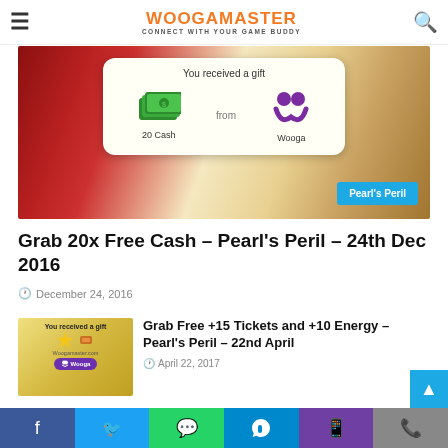WOOGAMASTER — CONNECT WITH YOUR GAME BUDDY
[Figure (screenshot): Pearl's Peril game promotional image showing a gift card with '20 Cash from Wooga' message, with a Pearl's Peril badge in the bottom right]
Grab 20x Free Cash – Pearl's Peril – 24th Dec 2016
December 24, 2016
[Figure (screenshot): Thumbnail image showing a gift received notification from Woogamaster.com with Wooga branding]
Grab Free +15 Tickets and +10 Energy – Pearl's Peril – 22nd April
April 22, 2017
[Figure (screenshot): Thumbnail showing purple/yellow game promotional image partially visible]
Collect House of Fun FREE Coins – Slot
Facebook  Twitter  WhatsApp  Telegram  Viber  Phone